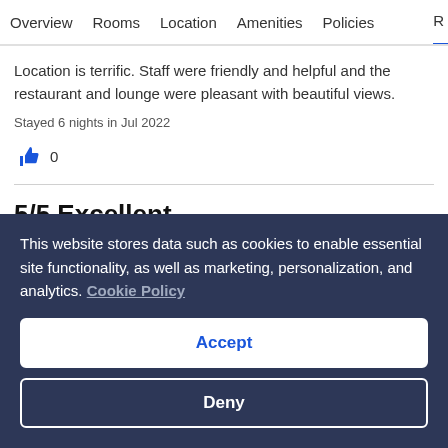Overview  Rooms  Location  Amenities  Policies  R
Location is terrific. Staff were friendly and helpful and the restaurant and lounge were pleasant with beautiful views.
Stayed 6 nights in Jul 2022
👍 0
5/5 Excellent
steven
Travelled with family, Travelled with group
14 Jul 2022
This website stores data such as cookies to enable essential site functionality, as well as marketing, personalization, and analytics. Cookie Policy
Accept
Deny